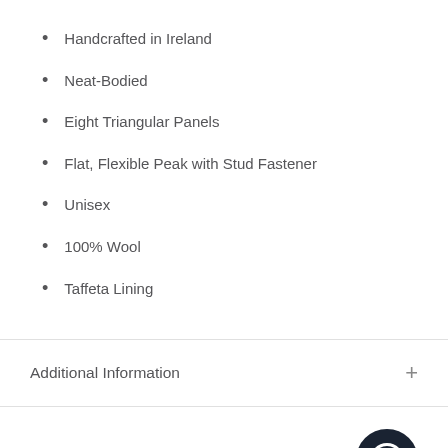Handcrafted in Ireland
Neat-Bodied
Eight Triangular Panels
Flat, Flexible Peak with Stud Fastener
Unisex
100% Wool
Taffeta Lining
Additional Information
Headwear Product Care